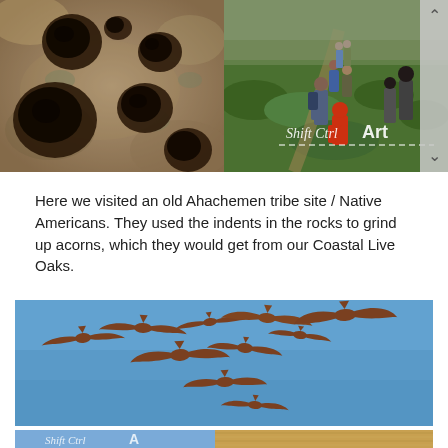[Figure (photo): Close-up photograph of a rock surface with multiple deep circular indentations (mortar holes) used by Native Americans for grinding acorns]
[Figure (photo): Group of children and adults walking along a trail through green grassy landscape, with 'Shift Ctrl Art' watermark overlay]
Here we visited an old Ahachemen tribe site / Native Americans. They used the indents in the rocks to grind up acorns, which they would get from our Coastal Live Oaks.
[Figure (photo): Photo of multiple birds (raptors) in flight against a clear blue sky, spread across the frame in various positions]
[Figure (photo): Partial view of bottom strip: left side shows sky/landscape with Shift Ctrl Art watermark, right side shows close-up of dry golden grass or hay]